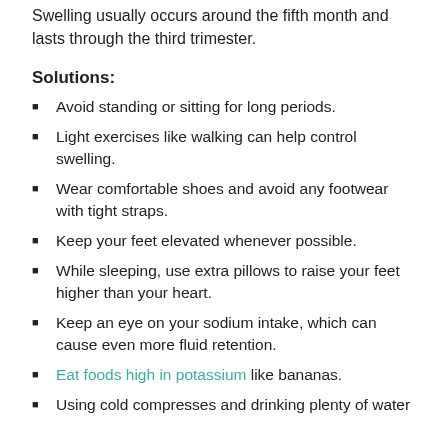Swelling usually occurs around the fifth month and lasts through the third trimester.
Solutions:
Avoid standing or sitting for long periods.
Light exercises like walking can help control swelling.
Wear comfortable shoes and avoid any footwear with tight straps.
Keep your feet elevated whenever possible.
While sleeping, use extra pillows to raise your feet higher than your heart.
Keep an eye on your sodium intake, which can cause even more fluid retention.
Eat foods high in potassium like bananas.
Using cold compresses and drinking plenty of water